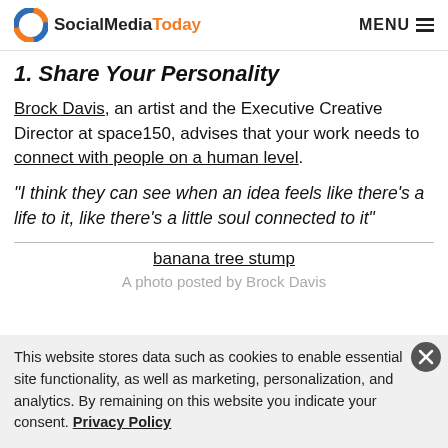SocialMediaToday  MENU
1. Share Your Personality
Brock Davis, an artist and the Executive Creative Director at space150, advises that your work needs to connect with people on a human level.
“I think they can see when an idea feels like there’s a life to it, like there’s a little soul connected to it”
banana tree stump
A photo posted by Brock Davis
This website stores data such as cookies to enable essential site functionality, as well as marketing, personalization, and analytics. By remaining on this website you indicate your consent. Privacy Policy